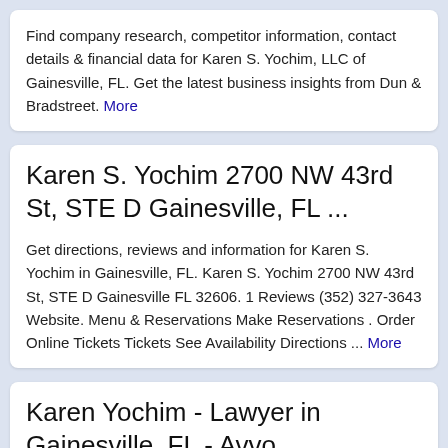Find company research, competitor information, contact details & financial data for Karen S. Yochim, LLC of Gainesville, FL. Get the latest business insights from Dun & Bradstreet. More
Karen S. Yochim 2700 NW 43rd St, STE D Gainesville, FL ...
Get directions, reviews and information for Karen S. Yochim in Gainesville, FL. Karen S. Yochim 2700 NW 43rd St, STE D Gainesville FL 32606. 1 Reviews (352) 327-3643 Website. Menu & Reservations Make Reservations . Order Online Tickets Tickets See Availability Directions ... More
Karen Yochim - Lawyer in Gainesville, FL - Avvo...